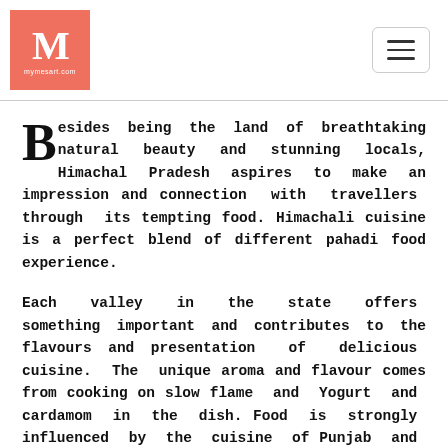[Figure (logo): Salmon/coral colored square logo with stylized M letter and text 'mymesart.com' below, with a hamburger menu icon on the right]
Besides being the land of breathtaking natural beauty and stunning locals, Himachal Pradesh aspires to make an impression and connection with travellers through its tempting food. Himachali cuisine is a perfect blend of different pahadi food experience.
Each valley in the state offers something important and contributes to the flavours and presentation of delicious cuisine. The unique aroma and flavour comes from cooking on slow flame and Yogurt and cardamom in the dish. Food is strongly influenced by the cuisine of Punjab and Tibet especially in its northern